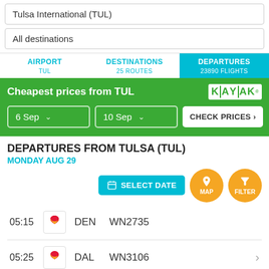Tulsa International (TUL)
All destinations
AIRPORT TUL
DESTINATIONS 25 ROUTES
DEPARTURES 23890 FLIGHTS
Cheapest prices from TUL
6 Sep
10 Sep
CHECK PRICES >
DEPARTURES FROM TULSA (TUL)
MONDAY AUG 29
SELECT DATE
MAP
FILTER
05:15  DEN  WN2735
05:25  DAL  WN3106